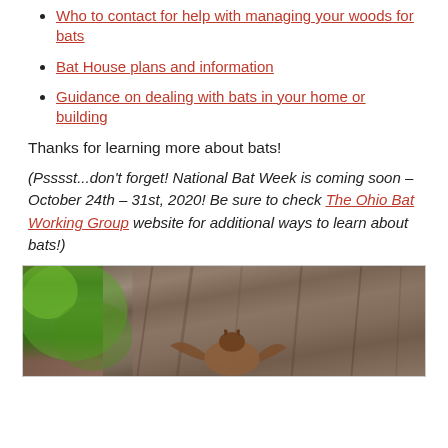Who to contact for help with managing your woods for bats
Bat House plans and information
Guidance on dealing with bats in your home or building
Thanks for learning more about bats!
(Psssst...don't forget! National Bat Week is coming soon – October 24th – 31st, 2020! Be sure to check The Ohio Bat Working Group website for additional ways to learn about bats!)
[Figure (photo): Close-up photo of a bat clinging to tree bark, with green bokeh background on the left side]